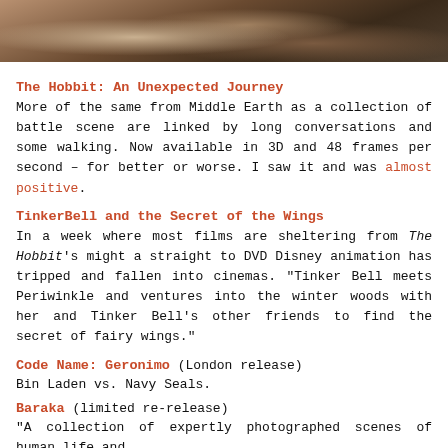[Figure (photo): Top portion of a dark-toned photograph showing what appears to be hands or figures in a dim, brownish setting.]
The Hobbit: An Unexpected Journey
More of the same from Middle Earth as a collection of battle scene are linked by long conversations and some walking. Now available in 3D and 48 frames per second – for better or worse. I saw it and was almost positive.
TinkerBell and the Secret of the Wings
In a week where most films are sheltering from The Hobbit's might a straight to DVD Disney animation has tripped and fallen into cinemas. "Tinker Bell meets Periwinkle and ventures into the winter woods with her and Tinker Bell's other friends to find the secret of fairy wings."
Code Name: Geronimo (London release)
Bin Laden vs. Navy Seals.
Baraka (limited re-release)
"A collection of expertly photographed scenes of human life and